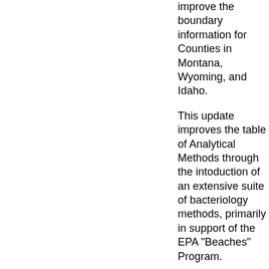improve the boundary information for Counties in Montana, Wyoming, and Idaho.
This update improves the table of Analytical Methods through the intoduction of an extensive suite of bacteriology methods, primarily in support of the EPA "Beaches" Program.
There are also changes to the Unit of Measure table, and other minor changes.
This download is in the form of a compressed, self-extracting 19.1 MB file, named